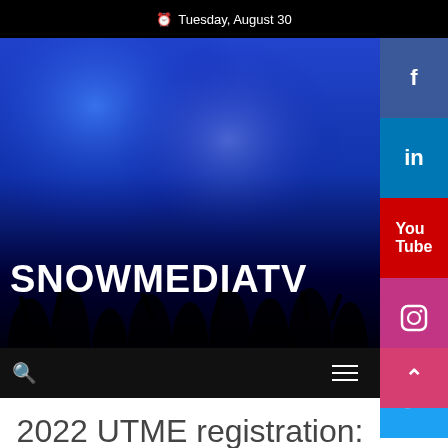Tuesday, August 30
[Figure (photo): Dark blue-lit concert crowd photo with SNOWMEDIATV logo overlaid in large white bold text. Navigation bar with search icon and hamburger menu at bottom.]
[Figure (infographic): Social media sidebar buttons: Facebook (blue), LinkedIn (blue), YouTube (red), Instagram (pink/purple), Twitter (blue)]
2022 UTME registration: Slow start at CBT centres